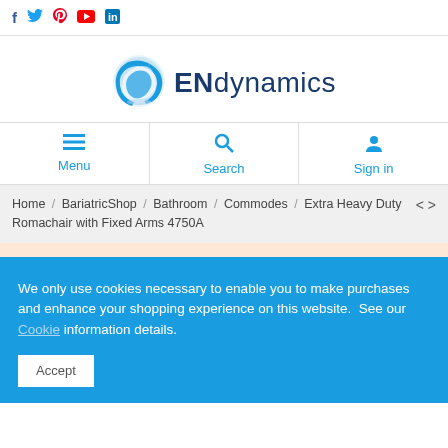f  t  p  yt  in (social media icons)
[Figure (logo): ENdynamics logo with blue globe icon and text ENdynamics in dark blue]
Menu  Search  Sign in
Home / BariatricShop / Bathroom / Commodes / Extra Heavy Duty Romachair with Fixed Arms 4750A
We only use cookies necessary to enable you to make purchases and enhance your shopping experience on this website.  See our Cookie information details.
Accept